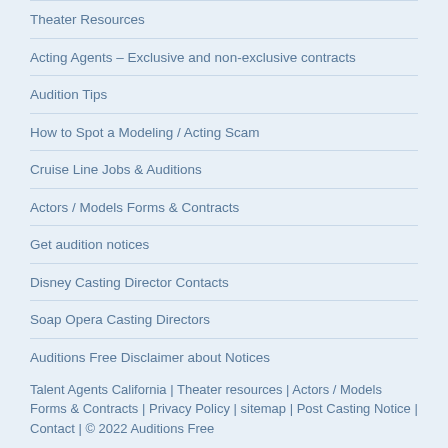Theater Resources
Acting Agents – Exclusive and non-exclusive contracts
Audition Tips
How to Spot a Modeling / Acting Scam
Cruise Line Jobs & Auditions
Actors / Models Forms & Contracts
Get audition notices
Disney Casting Director Contacts
Soap Opera Casting Directors
Auditions Free Disclaimer about Notices
Talent Agents California | Theater resources | Actors / Models Forms & Contracts | Privacy Policy | sitemap | Post Casting Notice | Contact | © 2022 Auditions Free